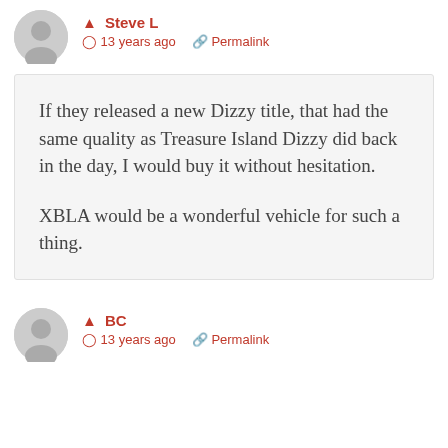Steve L — 13 years ago — Permalink
If they released a new Dizzy title, that had the same quality as Treasure Island Dizzy did back in the day, I would buy it without hesitation.

XBLA would be a wonderful vehicle for such a thing.
BC — 13 years ago — Permalink